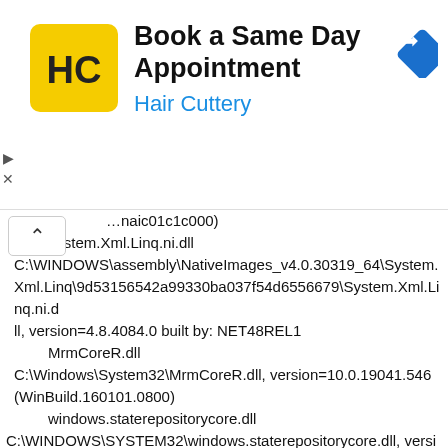[Figure (other): Advertisement banner for Hair Cuttery - Book a Same Day Appointment]
...naiSystems.ddll
    _ystem.Xml.Linq.ni.dll
 C:\WINDOWS\assembly\NativeImages_v4.0.30319_64\System.Xml.Linq\9d53156542a99330ba037f54d6556679\System.Xml.Linq.ni.dll, version=4.8.4084.0 built by: NET48REL1
    MrmCoreR.dll
 C:\Windows\System32\MrmCoreR.dll, version=10.0.19041.546 (WinBuild.160101.0800)
    windows.staterepositorycore.dll
 C:\WINDOWS\SYSTEM32\windows.staterepositorycore.dll, version=10.0.19041.546 (WinBuild.160101.0800)
    bcp47mrm.dll
 C:\Windows\System32\bcp47mrm.dll, version=10.0.19041.546 (WinBuild.160101.0800)
    Ninput.dll                            C:\WINDOWS\system32\Ninput.dll, version=10.0.19041.1 (WinBuild.160101.0800)
    clrcompression.dll
 C:\Windows\Microsoft.NET\Framework64\v4.0.30319\clrcompress...